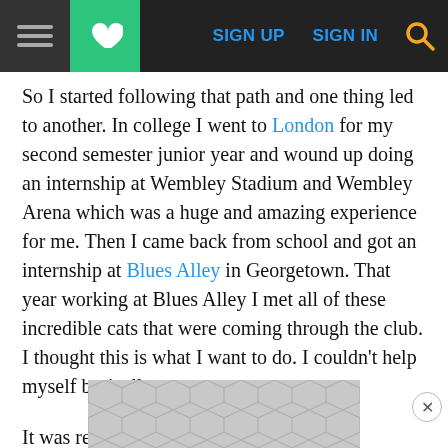Navigation bar with hamburger menu, heart/save button, SIGN UP, SIGN IN, and search icon
So I started following that path and one thing led to another. In college I went to London for my second semester junior year and wound up doing an internship at Wembley Stadium and Wembley Arena which was a huge and amazing experience for me. Then I came back from school and got an internship at Blues Alley in Georgetown. That year working at Blues Alley I met all of these incredible cats that were coming through the club. I thought this is what I want to do. I couldn't help myself basically.
It was really exciting and it was a really interesting time, and I got to meet some of the artists, and get involved ... uate college ... and
[Figure (other): Advertisement banner with hexagonal/chevron pattern overlay at bottom of page, with a close (X) button]